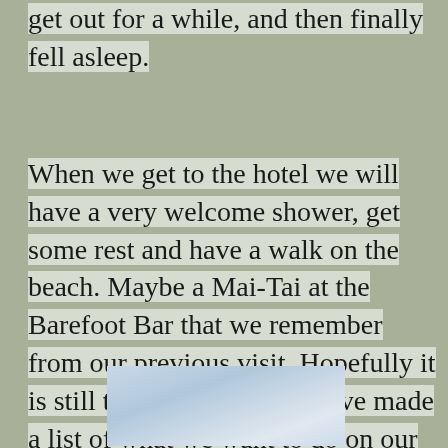get out for a while, and then finally fell asleep.
When we get to the hotel we will have a very welcome shower, get some rest and have a walk on the beach.  Maybe a Mai-Tai at the Barefoot Bar that we remember from our previous visit.  Hopefully it is still there.  Gregg and I have made a list of what we want to do on our vacation.  We have accumulated a big folder on my laptop to look through.
[Figure (photo): Aerial or distant view of light blue water or sky, partially visible at bottom of page]